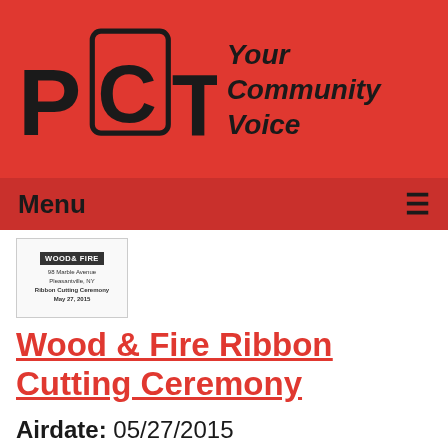[Figure (logo): PCTV logo with TV screen graphic and tagline 'Your Community Voice' on red background]
Menu ≡
[Figure (screenshot): Small thumbnail of Wood & Fire event flyer showing 98 Marble Avenue, Pleasantville, NY, Ribbon Cutting Ceremony, May 27, 2015]
Wood & Fire Ribbon Cutting Ceremony
Airdate: 05/27/2015
Watched: 42 times
[Figure (logo): PRC Pleasantville logo with text 'Ride. of Pleasantville']